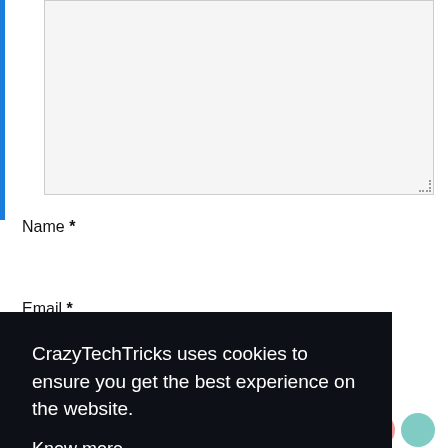[Figure (screenshot): A gray textarea input box with resize handle at bottom right, and a blue vertical bar on the left side.]
Name *
[Figure (screenshot): A light gray name input field (text box).]
Email *
CrazyTechTricks uses cookies to ensure you get the best experience on the website.
Know more
OKAY
[Figure (screenshot): Row of colorful social media icon circles (green, dark blue, light blue, red/orange, dark gray, teal/green) along the bottom edge.]